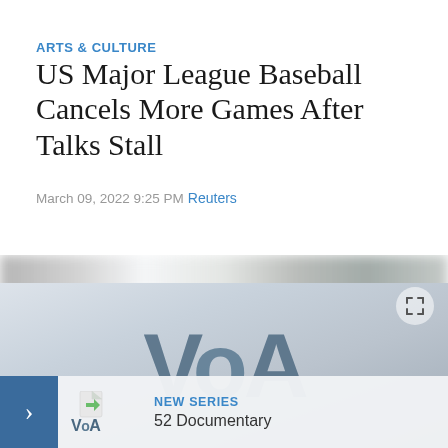ARTS & CULTURE
US Major League Baseball Cancels More Games After Talks Stall
March 09, 2022 9:25 PM
Reuters
[Figure (photo): VOA (Voice of America) logo displayed large against a light grey-blue background, with a blurred scenic strip above and a promotional bar at the bottom showing a VOA logo icon, arrow button, 'NEW SERIES' label, and '52 Documentary' text.]